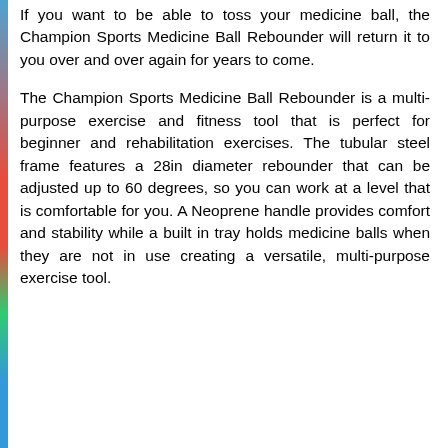If you want to be able to toss your medicine ball, the Champion Sports Medicine Ball Rebounder will return it to you over and over again for years to come.
The Champion Sports Medicine Ball Rebounder is a multi-purpose exercise and fitness tool that is perfect for beginner and rehabilitation exercises. The tubular steel frame features a 28in diameter rebounder that can be adjusted up to 60 degrees, so you can work at a level that is comfortable for you. A Neoprene handle provides comfort and stability while a built in tray holds medicine balls when they are not in use creating a versatile, multi-purpose exercise tool.